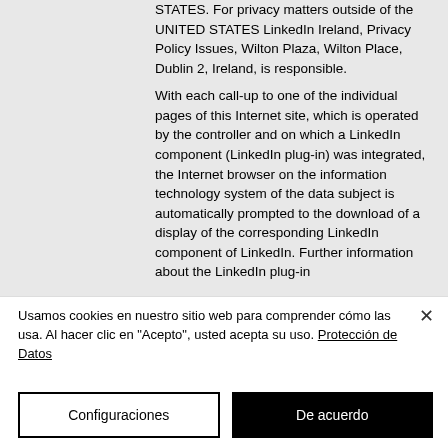STATES. For privacy matters outside of the UNITED STATES LinkedIn Ireland, Privacy Policy Issues, Wilton Plaza, Wilton Place, Dublin 2, Ireland, is responsible. With each call-up to one of the individual pages of this Internet site, which is operated by the controller and on which a LinkedIn component (LinkedIn plug-in) was integrated, the Internet browser on the information technology system of the data subject is automatically prompted to the download of a display of the corresponding LinkedIn component of LinkedIn. Further information about the LinkedIn plug-in
Usamos cookies en nuestro sitio web para comprender cómo las usa. Al hacer clic en "Acepto", usted acepta su uso. Protección de Datos
Configuraciones
De acuerdo